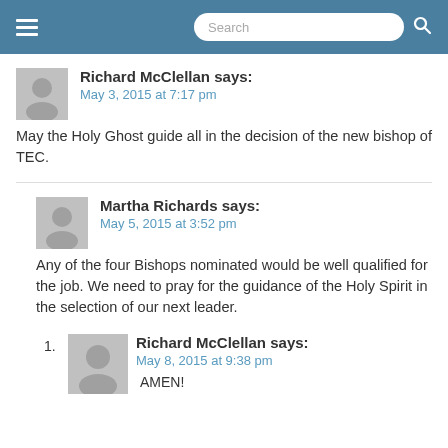Search
Richard McClellan says: May 3, 2015 at 7:17 pm
May the Holy Ghost guide all in the decision of the new bishop of TEC.
Martha Richards says: May 5, 2015 at 3:52 pm
Any of the four Bishops nominated would be well qualified for the job. We need to pray for the guidance of the Holy Spirit in the selection of our next leader.
Richard McClellan says: May 8, 2015 at 9:38 pm
AMEN!